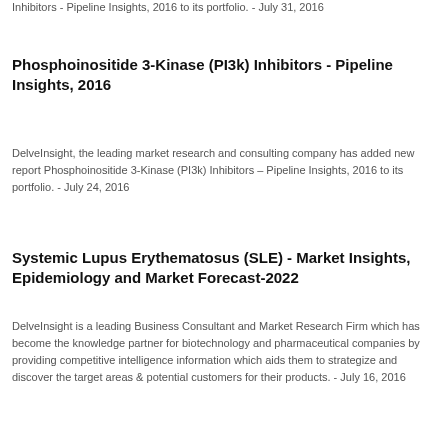Inhibitors - Pipeline Insights, 2016 to its portfolio. - July 31, 2016
Phosphoinositide 3-Kinase (PI3k) Inhibitors - Pipeline Insights, 2016
DelveInsight, the leading market research and consulting company has added new report Phosphoinositide 3-Kinase (PI3k) Inhibitors – Pipeline Insights, 2016 to its portfolio. - July 24, 2016
Systemic Lupus Erythematosus (SLE) - Market Insights, Epidemiology and Market Forecast-2022
DelveInsight is a leading Business Consultant and Market Research Firm which has become the knowledge partner for biotechnology and pharmaceutical companies by providing competitive intelligence information which aids them to strategize and discover the target areas & potential customers for their products. - July 16, 2016